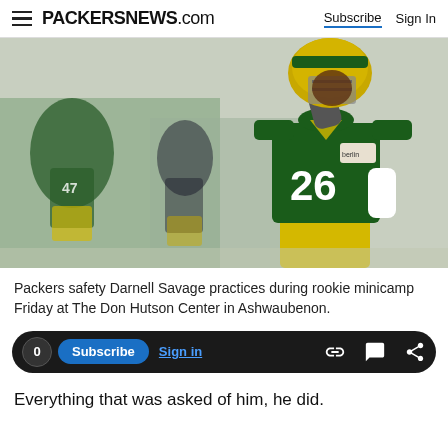PACKERSNEWS.com  Subscribe  Sign In
[Figure (photo): Green Bay Packers safety Darnell Savage wearing number 26 green jersey and yellow shorts, raising one hand, practicing at indoor facility during rookie minicamp. Other players visible in background.]
Packers safety Darnell Savage practices during rookie minicamp Friday at The Don Hutson Center in Ashwaubenon.
0  Subscribe  Sign in
Everything that was asked of him, he did.